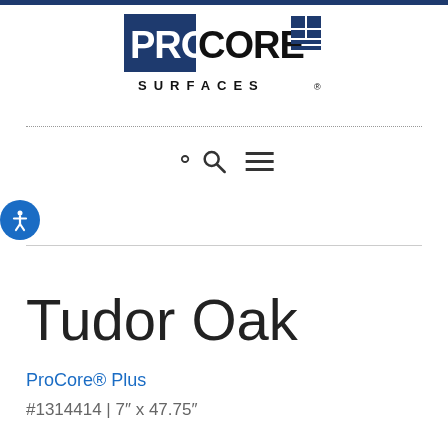[Figure (logo): ProCore Surfaces logo with bold PRO in navy box, CORE in black, and grid icon on right, with SURFACES text below in spaced capitals]
Tudor Oak
ProCore® Plus
#1314414 | 7" x 47.75"